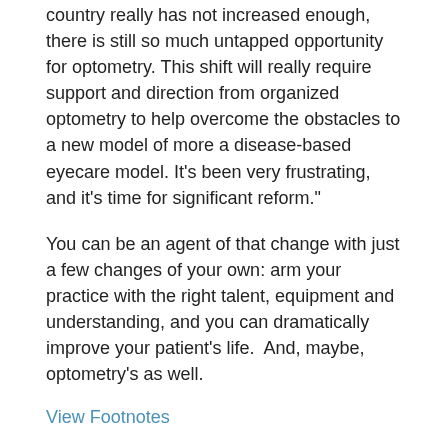country really has not increased enough, there is still so much untapped opportunity for optometry. This shift will really require support and direction from organized optometry to help overcome the obstacles to a new model of more a disease-based eyecare model. It’s been very frustrating, and it’s time for significant reform.”
You can be an agent of that change with just a few changes of your own: arm your practice with the right talent, equipment and understanding, and you can dramatically improve your patient’s life.  And, maybe, optometry’s as well.
View Footnotes
SHOW MORE ON: GLAUCOMA
RELATED CONTENT
Acute Angle-Closure Crisis Often Missed, Study Says